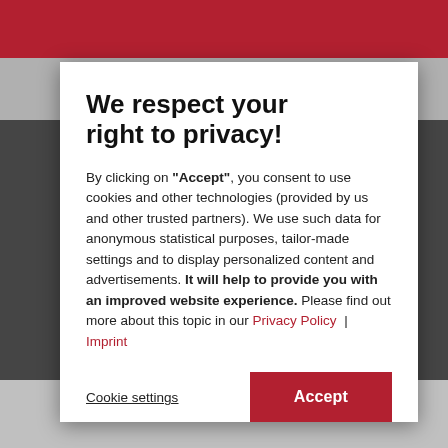[Figure (screenshot): Blurred website background with dark red top navigation bar and grey content area with black video/image region]
We respect your right to privacy!
By clicking on "Accept", you consent to use cookies and other technologies (provided by us and other trusted partners). We use such data for anonymous statistical purposes, tailor-made settings and to display personalized content and advertisements. It will help to provide you with an improved website experience. Please find out more about this topic in our Privacy Policy | Imprint
Cookie settings
Accept